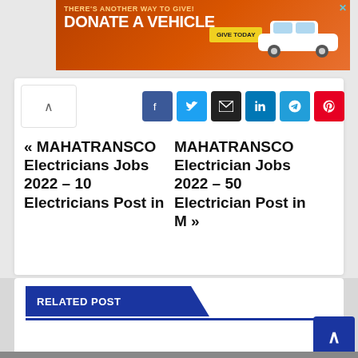[Figure (screenshot): Orange advertisement banner: 'THERE'S ANOTHER WAY TO GIVE! DONATE A VEHICLE GIVE TODAY' with a white car image on the right and a close X button.]
« MAHATRANSCO   MAHATRANSCO Electricians Jobs 2022 – 10 Electricians Post in    Electrician Jobs 2022 – 50 Electrician Post in M »
RELATED POST